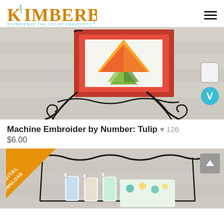KIMBERBELL - EXPERIENCE THE JOY OF CREATIVITY®
[Figure (photo): Embroidered tulip quilt panel displayed on a decorative black wire easel stand on a wood surface]
Machine Embroider by Number: Tulip ♥ 126
$6.00
[Figure (photo): Second product photo showing a decorative black wire rack with rolled fabric/towels, with a diagonal orange 'DIGITAL DOWNLOAD' badge overlay in the top-left corner]